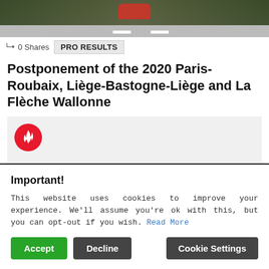[Figure (photo): Photo banner of cyclists on road with red car, taken from above]
0 Shares
PRO RESULTS
Postponement of the 2020 Paris-Roubaix, Liège-Bastogne-Liège and La Flèche Wallonne
[Figure (illustration): Gray content area with red flame circle icon in top-left]
Important!
This website uses cookies to improve your experience. We'll assume you're ok with this, but you can opt-out if you wish. Read More
Accept  Decline  Cookie Settings